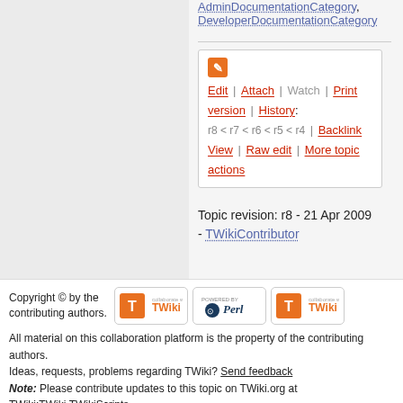AdminDocumentationCategory, DeveloperDocumentationCategory
[Figure (other): TWiki edit/action toolbar with icon and links: Edit | Attach | Watch | Print version | History: r8 < r7 < r6 < r5 < r4 | Backlink | View | Raw edit | More topic actions]
Topic revision: r8 - 21 Apr 2009 - TWikiContributor
Copyright © by the contributing authors. All material on this collaboration platform is the property of the contributing authors. Ideas, requests, problems regarding TWiki? Send feedback Note: Please contribute updates to this topic on TWiki.org at TWiki:TWiki.TWikiScripts